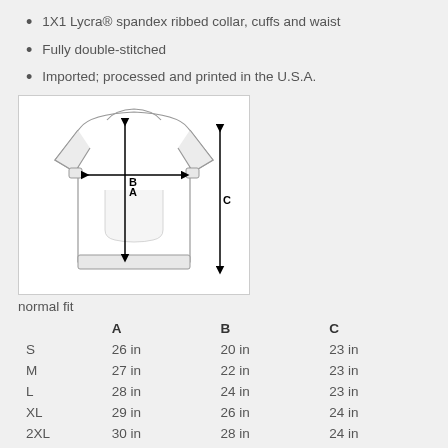1X1 Lycra® spandex ribbed collar, cuffs and waist
Fully double-stitched
Imported; processed and printed in the U.S.A.
[Figure (illustration): A crewneck sweatshirt diagram with measurement arrows: A (vertical from collar to hem), B (horizontal chest width), C (vertical full length from shoulder to hem)]
normal fit
|  | A | B | C |
| --- | --- | --- | --- |
| S | 26 in | 20 in | 23 in |
| M | 27 in | 22 in | 23 in |
| L | 28 in | 24 in | 23 in |
| XL | 29 in | 26 in | 24 in |
| 2XL | 30 in | 28 in | 24 in |